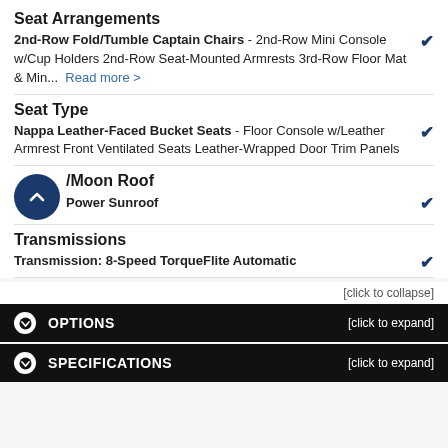Seat Arrangements
2nd-Row Fold/Tumble Captain Chairs - 2nd-Row Mini Console w/Cup Holders 2nd-Row Seat-Mounted Armrests 3rd-Row Floor Mat & Min... Read more >
Seat Type
Nappa Leather-Faced Bucket Seats - Floor Console w/Leather Armrest Front Ventilated Seats Leather-Wrapped Door Trim Panels
/Moon Roof
Power Sunroof
Transmissions
Transmission: 8-Speed TorqueFlite Automatic
[click to collapse]
OPTIONS [click to expand]
SPECIFICATIONS [click to expand]